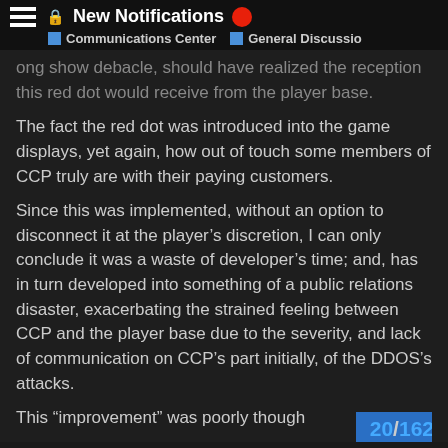New Notifications | Communications Center | General Discussio
ong show debacle, should have realized the reception this red dot would receive from the player base.
The fact the red dot was introduced into the game displays, yet again, how out of touch some members of CCP truly are with their paying customers.
Since this was implemented, without an option to disconnect it at the player's discretion, I can only conclude it was a waste of developer's time; and, has in turn developed into something of a public relations disaster, exacerbating the strained feeling between CCP and the player base due to the severity, and lack of communication on CCP's part initially, of the DDOS's attacks.
This “improvement” was poorly though
20 / 162